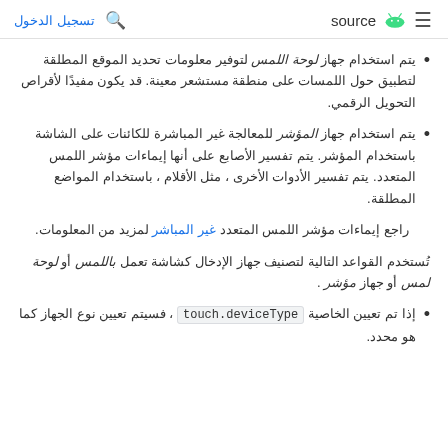source  تسجيل الدخول
يتم استخدام جهاز لوحة اللمس لتوفير معلومات تحديد الموقع المطلقة لتطبيق حول اللمسات على منطقة مستشعر معينة. قد يكون مفيدًا لأقراص التحويل الرقمي.
يتم استخدام جهاز المؤشر للمعالجة غير المباشرة للكائنات على الشاشة باستخدام المؤشر. يتم تفسير الأصابع على أنها إيماءات مؤشر اللمس المتعدد. يتم تفسير الأدوات الأخرى ، مثل الأقلام ، باستخدام المواضع المطلقة.
راجع إيماءات مؤشر اللمس المتعدد غير المباشر لمزيد من المعلومات.
تُستخدم القواعد التالية لتصنيف جهاز الإدخال كشاشة تعمل باللمس أو لوحة لمس أو جهاز مؤشر .
إذا تم تعيين الخاصية touch.deviceType ، فسيتم تعيين نوع الجهاز كما هو محدد.